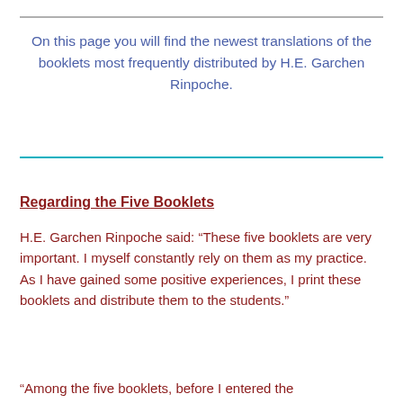On this page you will find the newest translations of the booklets most frequently distributed by H.E. Garchen Rinpoche.
Regarding the Five Booklets
H.E. Garchen Rinpoche said: “These five booklets are very important. I myself constantly rely on them as my practice. As I have gained some positive experiences, I print these booklets and distribute them to the students.”
“Among the five booklets, before I entered the